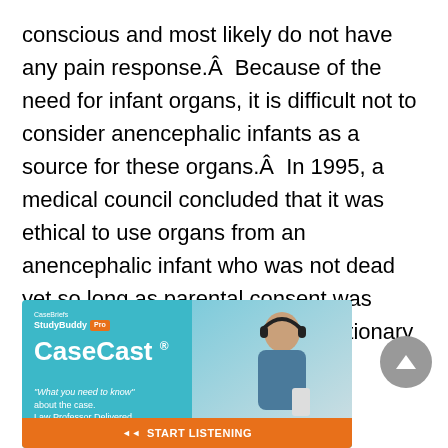conscious and most likely do not have any pain response.Â  Because of the need for infant organs, it is difficult not to consider anencephalic infants as a source for these organs.Â  In 1995, a medical council concluded that it was ethical to use organs from an anencephalic infant who was not dead yet so long as parental consent was obtained, along with other precautionary measures.
[Figure (infographic): Advertisement banner for CaseBriefs StudyBuddy Pro featuring CaseCast product. Teal/cyan background with a photo of a woman wearing headphones. Text reads: CaseBriefs StudyBuddy Pro, CaseCast®, 'What you need to know' about the case. Law Professor Delivered. Orange START LISTENING button at bottom.]